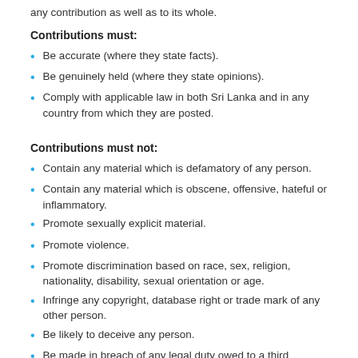any contribution as well as to its whole.
Contributions must:
Be accurate (where they state facts).
Be genuinely held (where they state opinions).
Comply with applicable law in both Sri Lanka and in any country from which they are posted.
Contributions must not:
Contain any material which is defamatory of any person.
Contain any material which is obscene, offensive, hateful or inflammatory.
Promote sexually explicit material.
Promote violence.
Promote discrimination based on race, sex, religion, nationality, disability, sexual orientation or age.
Infringe any copyright, database right or trade mark of any other person.
Be likely to deceive any person.
Be made in breach of any legal duty owed to a third